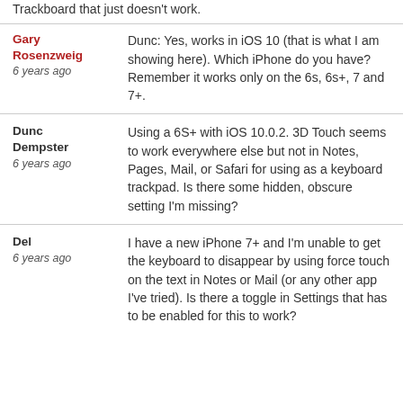Trackboard that just doesn't work.
Gary Rosenzweig
6 years ago
Dunc: Yes, works in iOS 10 (that is what I am showing here). Which iPhone do you have? Remember it works only on the 6s, 6s+, 7 and 7+.
Dunc Dempster
6 years ago
Using a 6S+ with iOS 10.0.2. 3D Touch seems to work everywhere else but not in Notes, Pages, Mail, or Safari for using as a keyboard trackpad. Is there some hidden, obscure setting I'm missing?
Del
6 years ago
I have a new iPhone 7+ and I'm unable to get the keyboard to disappear by using force touch on the text in Notes or Mail (or any other app I've tried). Is there a toggle in Settings that has to be enabled for this to work?